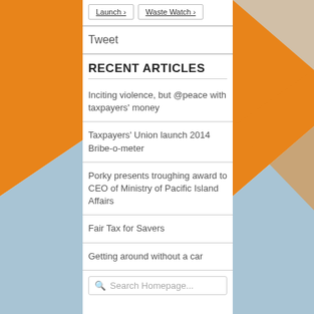Launch ›
Waste Watch ›
Tweet
RECENT ARTICLES
Inciting violence, but @peace with taxpayers' money
Taxpayers' Union launch 2014 Bribe-o-meter
Porky presents troughing award to CEO of Ministry of Pacific Island Affairs
Fair Tax for Savers
Getting around without a car
Search Homepage...